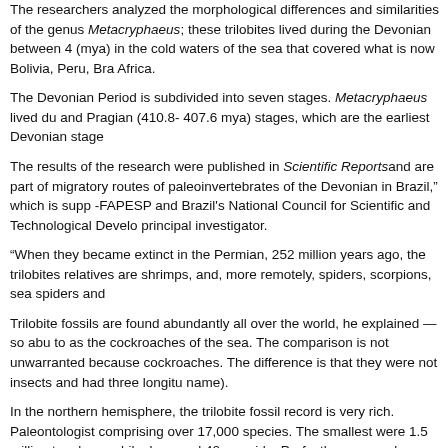The researchers analyzed the morphological differences and similarities of the genus Metacryphaeus; these trilobites lived during the Devonian between 4 (mya) in the cold waters of the sea that covered what is now Bolivia, Peru, Brazil and Africa.
The Devonian Period is subdivided into seven stages. Metacryphaeus lived during the and Pragian (410.8- 407.6 mya) stages, which are the earliest Devonian stages.
The results of the research were published in Scientific Reports and are part of migratory routes of paleoinvertebrates of the Devonian in Brazil," which is supported by -FAPESP and Brazil's National Council for Scientific and Technological Development principal investigator.
“When they became extinct in the Permian, 252 million years ago, the trilobites relatives are shrimps, and, more remotely, spiders, scorpions, sea spiders and
Trilobite fossils are found abundantly all over the world, he explained — so abundantly to as the cockroaches of the sea. The comparison is not unwarranted because cockroaches. The difference is that they were not insects and had three longitudinal lobes (hence the name).
In the northern hemisphere, the trilobite fossil record is very rich. Paleontologists comprising over 17,000 species. The smallest were 1.5 millimeters long, while others were long and 40 cm wide. Perfectly preserved trilobites can be found in some regions, and are beautiful when used to create cameos or intaglio jewelry. Trilobite fossils from Brazil are often poorly preserved, consisting merely of the impressions left in benthic